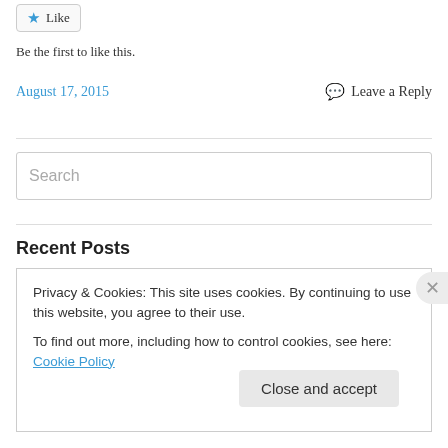Like
Be the first to like this.
August 17, 2015
Leave a Reply
Search
Recent Posts
Privacy & Cookies: This site uses cookies. By continuing to use this website, you agree to their use.
To find out more, including how to control cookies, see here: Cookie Policy
Close and accept